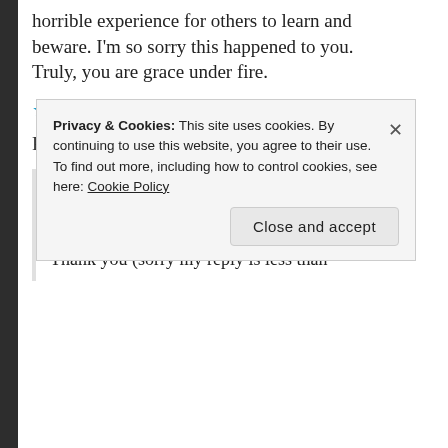horrible experience for others to learn and beware. I'm so sorry this happened to you. Truly, you are grace under fire.
★ Liked by 2 people
Reply →
KJSIMMILL
August 22, 2016 at 9:40 am
Thank you (sorry my reply is less than
Privacy & Cookies: This site uses cookies. By continuing to use this website, you agree to their use.
To find out more, including how to control cookies, see here: Cookie Policy
Close and accept